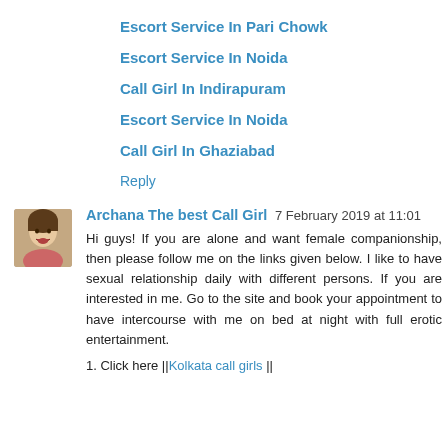Escort Service In Pari Chowk
Escort Service In Noida
Call Girl In Indirapuram
Escort Service In Noida
Call Girl In Ghaziabad
Reply
Archana The best Call Girl  7 February 2019 at 11:01
Hi guys! If you are alone and want female companionship, then please follow me on the links given below. I like to have sexual relationship daily with different persons. If you are interested in me. Go to the site and book your appointment to have intercourse with me on bed at night with full erotic entertainment.
1. Click here ||Kolkata call girls ||